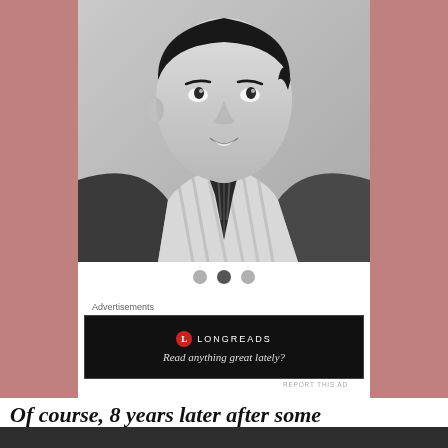[Figure (photo): Black and white portrait photo of a young man in a suit jacket with a striped tie and collared shirt, looking up and to the side, smiling slightly.]
Advertisements
[Figure (screenshot): Advertisement banner with black background showing Longreads logo and tagline: Read anything great lately?]
REPORT THIS AD
Of course, 8 years later after some